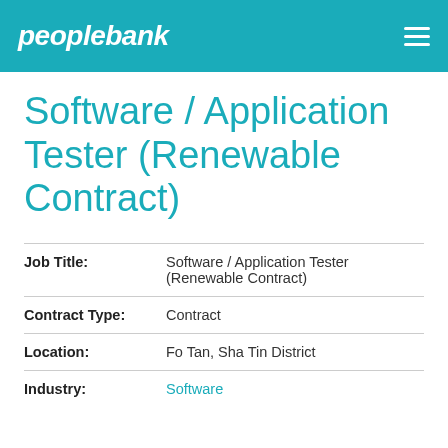peoplebank
Software / Application Tester (Renewable Contract)
| Field | Value |
| --- | --- |
| Job Title: | Software / Application Tester (Renewable Contract) |
| Contract Type: | Contract |
| Location: | Fo Tan, Sha Tin District |
| Industry: | Software |